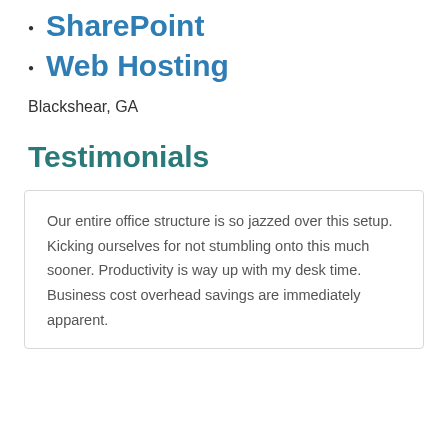SharePoint
Web Hosting
Blackshear, GA
Testimonials
Our entire office structure is so jazzed over this setup. Kicking ourselves for not stumbling onto this much sooner. Productivity is way up with my desk time. Business cost overhead savings are immediately apparent.